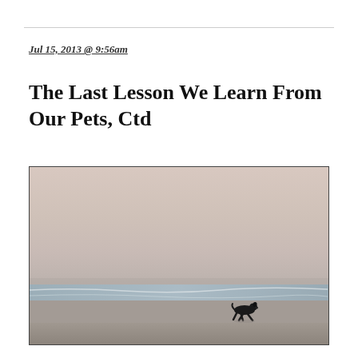Jul 15, 2013 @ 9:56am
The Last Lesson We Learn From Our Pets, Ctd
[Figure (photo): A dog running on a wide, misty beach near the water's edge. The sky is hazy and pale pink-grey, the ocean waves are gentle, and the dark dog is silhouetted against the wet sand in the lower right area of the frame.]